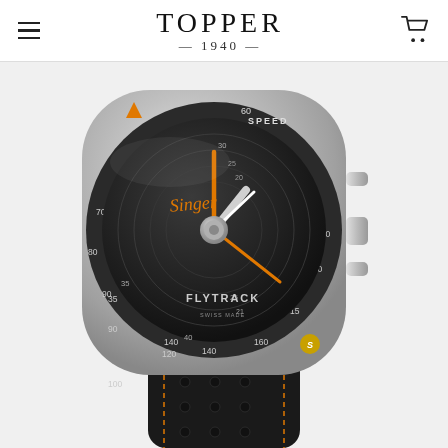TOPPER — 1940 —
[Figure (photo): Singer Flytrack watch with black dial featuring tachymeter/speed scale, orange chronograph hands, silver case with pushers and crown, and black leather perforated strap with orange stitching. The watch face shows 'FLYTRACK' text and 'Singer' signature in orange. The outer bezel has speed markings. A gold Singer logo emblem is visible on the lower right of the case.]